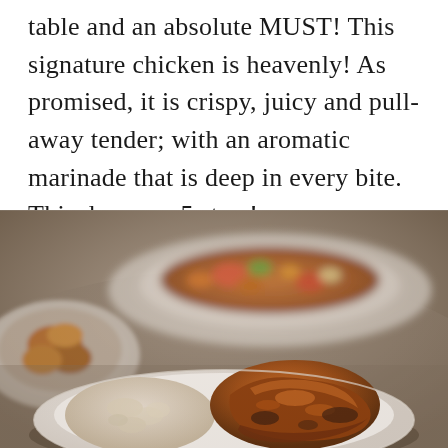table and an absolute MUST! This signature chicken is heavenly! As promised, it is crispy, juicy and pull-away tender; with an aromatic marinade that is deep in every bite. This deserves 5 stars!
[Figure (photo): Food photo showing restaurant dishes on a table: a plate with stir-fried meat and vegetables in the background (blurred), a dish with fried chicken pieces on the left side, and in the foreground a white plate with glazed braised chicken pieces served with rice or noodles.]